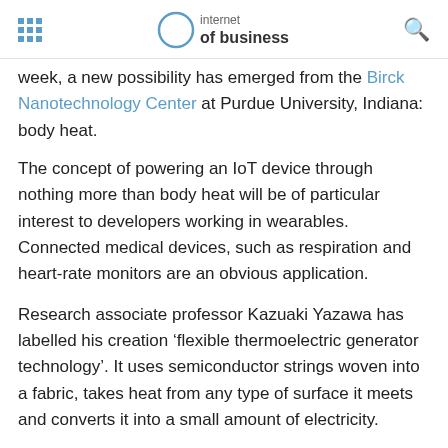internet of business
week, a new possibility has emerged from the Birck Nanotechnology Center at Purdue University, Indiana: body heat.
The concept of powering an IoT device through nothing more than body heat will be of particular interest to developers working in wearables. Connected medical devices, such as respiration and heart-rate monitors are an obvious application.
Research associate professor Kazuaki Yazawa has labelled his creation ‘flexible thermoelectric generator technology’. It uses semiconductor strings woven into a fabric, takes heat from any type of surface it meets and converts it into a small amount of electricity.